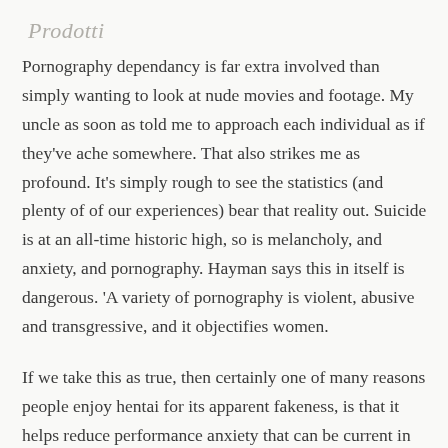Prodotti
Pornography dependancy is far extra involved than simply wanting to look at nude movies and footage. My uncle as soon as told me to approach each individual as if they've ache somewhere. That also strikes me as profound. It's simply rough to see the statistics (and plenty of of our experiences) bear that reality out. Suicide is at an all-time historic high, so is melancholy, and anxiety, and pornography. Hayman says this in itself is dangerous. 'A variety of pornography is violent, abusive and transgressive, and it objectifies women.
If we take this as true, then certainly one of many reasons people enjoy hentai for its apparent fakeness, is that it helps reduce performance anxiety that can be current in normal porn because they're pretend, and the women is not going to